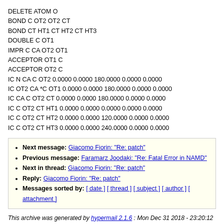DELETE ATOM O
BOND C OT2 OT2 CT
BOND CT HT1 CT HT2 CT HT3
DOUBLE C OT1
IMPR C CA OT2 OT1
ACCEPTOR OT1 C
ACCEPTOR OT2 C
IC N CA C OT2 0.0000 0.0000 180.0000 0.0000 0.0000
IC OT2 CA *C OT1 0.0000 0.0000 180.0000 0.0000 0.0000
IC CA C OT2 CT 0.0000 0.0000 180.0000 0.0000 0.0000
IC C OT2 CT HT1 0.0000 0.0000 0.0000 0.0000 0.0000
IC C OT2 CT HT2 0.0000 0.0000 120.0000 0.0000 0.0000
IC C OT2 CT HT3 0.0000 0.0000 240.0000 0.0000 0.0000
Next message: Giacomo Fiorin: "Re: patch"
Previous message: Faramarz Joodaki: "Re: Fatal Error in NAMD"
Next in thread: Giacomo Fiorin: "Re: patch"
Reply: Giacomo Fiorin: "Re: patch"
Messages sorted by: [ date ] [ thread ] [ subject ] [ author ] [ attachment ]
This archive was generated by hypermail 2.1.6 : Mon Dec 31 2018 - 23:20:12 CST